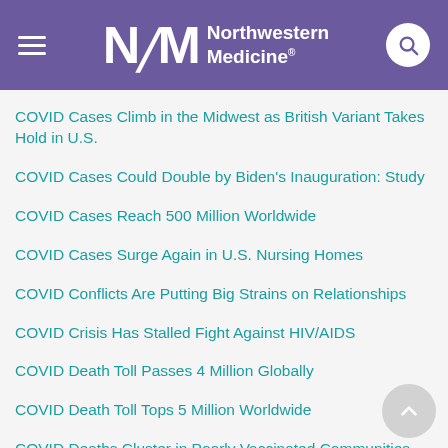Northwestern Medicine
COVID Cases Climb in the Midwest as British Variant Takes Hold in U.S.
COVID Cases Could Double by Biden's Inauguration: Study
COVID Cases Reach 500 Million Worldwide
COVID Cases Surge Again in U.S. Nursing Homes
COVID Conflicts Are Putting Big Strains on Relationships
COVID Crisis Has Stalled Fight Against HIV/AIDS
COVID Death Toll Passes 4 Million Globally
COVID Death Toll Tops 5 Million Worldwide
COVID Deaths Cluster in Poorly Vaccinated Communities